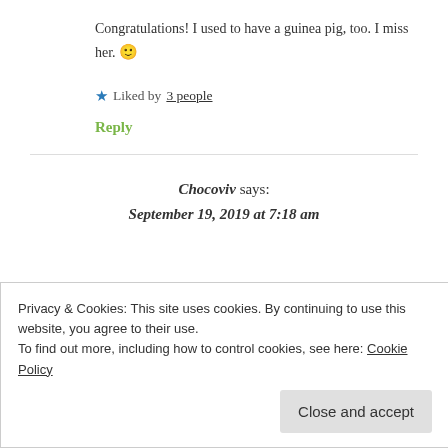Congratulations! I used to have a guinea pig, too. I miss her. 🙂
★ Liked by 3 people
Reply
Chocoviv says: September 19, 2019 at 7:18 am
Privacy & Cookies: This site uses cookies. By continuing to use this website, you agree to their use. To find out more, including how to control cookies, see here: Cookie Policy